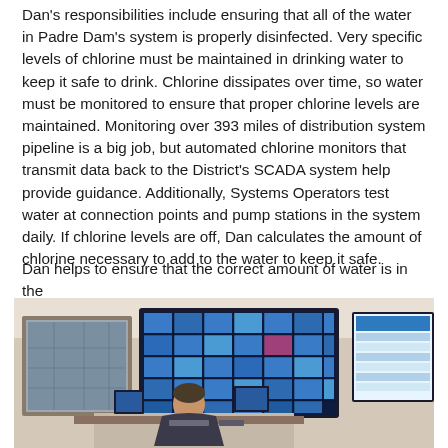Dan's responsibilities include ensuring that all of the water in Padre Dam's system is properly disinfected. Very specific levels of chlorine must be maintained in drinking water to keep it safe to drink. Chlorine dissipates over time, so water must be monitored to ensure that proper chlorine levels are maintained. Monitoring over 393 miles of distribution system pipeline is a big job, but automated chlorine monitors that transmit data back to the District's SCADA system help provide guidance. Additionally, Systems Operators test water at connection points and pump stations in the system daily. If chlorine levels are off, Dan calculates the amount of chlorine necessary to add to the water to keep it safe.
Dan helps to ensure that the correct amount of water is in the
[Figure (photo): A man sitting in a control room with multiple large monitors displaying a SCADA system interface with colorful grid panels, and a map on the wall to the left.]